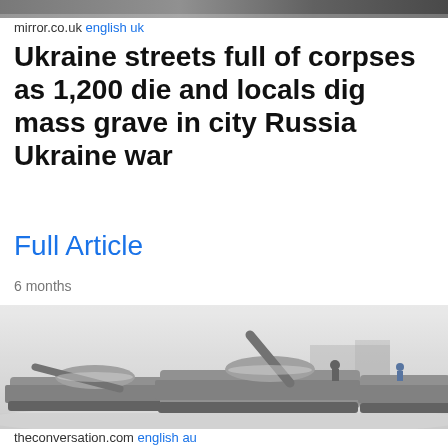[Figure (photo): Partial top strip of a war-related photo at the very top of the page]
mirror.co.uk english uk
Ukraine streets full of corpses as 1,200 die and locals dig mass grave in city Russia Ukraine war
Full Article
6 months
[Figure (photo): Black and white / desaturated photo of multiple military tanks covered in snow, with soldiers visible on top, gun barrels pointing upward, taken in a snowy winter setting]
theconversation.com english au